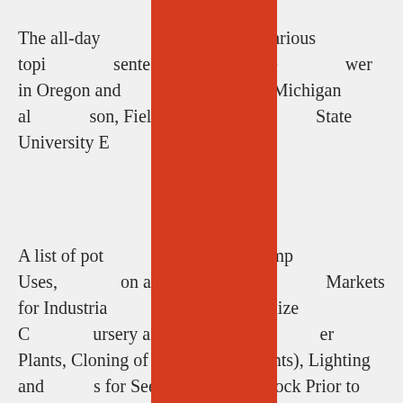The all-day [session] will cover various topi[cs] [pre]sented by Milan Kluke[r, a gro]wer in Oregon and [a] [grower in] Southwest Michigan al[so, Lar]son, Field Crops Educa[tion,] [Michigan] State University E[xtension].
A list of pot[ential topics include: I]ndustrial Hemp Uses, [Producti]on and Equipment f[or Hemp,] Markets for Industria[l Hemp Produc]tion – to Maximize O[pportunity, Nu]rsery and Seedling De[velopment of Moth]er Plants, Cloning of S[tart Plants (Mot]her Plants), Lighting and [Requirement]s for Seedstock, H[andling Seedst]ock Prior to Planting, Ge[netics and othe]r.